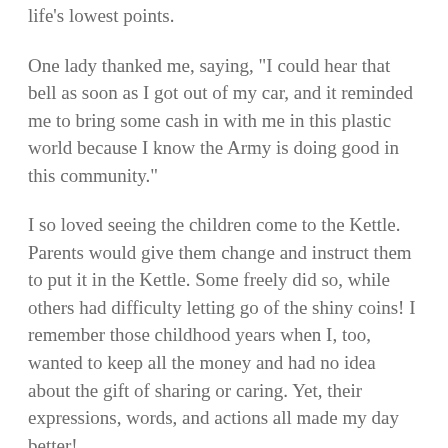life's lowest points.
One lady thanked me, saying, “I could hear that bell as soon as I got out of my car, and it reminded me to bring some cash in with me in this plastic world because I know the Army is doing good in this community.”
I so loved seeing the children come to the Kettle. Parents would give them change and instruct them to put it in the Kettle. Some freely did so, while others had difficulty letting go of the shiny coins! I remember those childhood years when I, too, wanted to keep all the money and had no idea about the gift of sharing or caring. Yet, their expressions, words, and actions all made my day better!
I also was given the gift of seeing my future self,